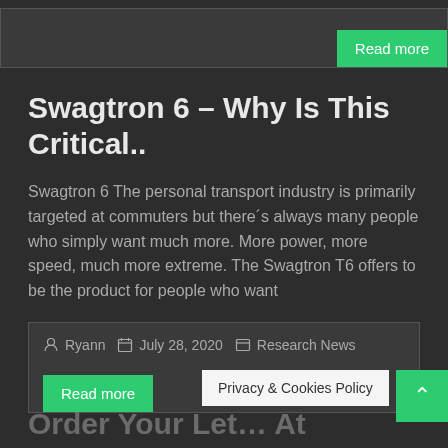Read more
Swagtron 6 – Why Is This Critical..
Swagtron 6 The personal transport industry is primarily targeted at commuters but there´s always many people who simply want much more. More power, more speed, much more extreme. The Swagtron T6 offers to be the product for people who want
Ryann   July 28, 2020   Research News
Read more
Order Your Let… At
Privacy & Cookies Policy